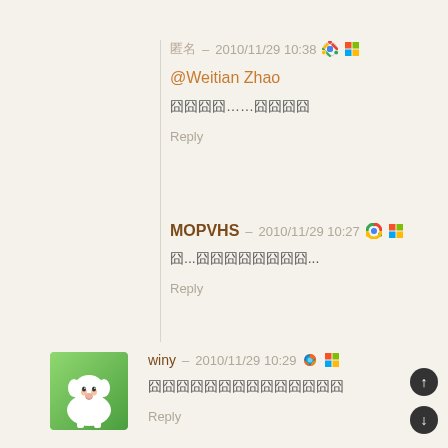匿名 – 2010/11/29 10:38
@Weitian Zhao
囧囧囧囧……囧囧囧囧
Reply
MOPVHS – 2010/11/29 10:27
囧...囧囧囧囧囧囧囧囧...
Reply
[Figure (photo): Avatar of user winy: cartoon sheep/lamb character with white fluffy body and face, green background]
winy – 2010/11/29 10:29
囧囧囧囧囧囧囧囧囧囧囧囧囧囧
Reply